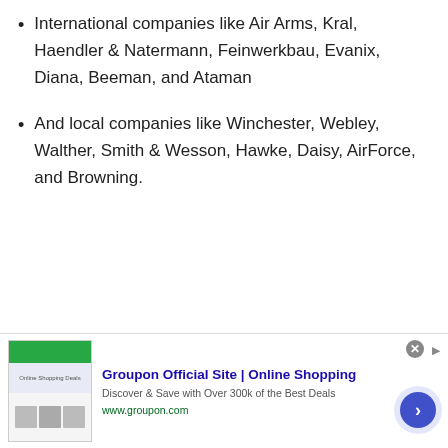International companies like Air Arms, Kral, Haendler & Natermann, Feinwerkbau, Evanix, Diana, Beeman, and Ataman
And local companies like Winchester, Webley, Walther, Smith & Wesson, Hawke, Daisy, AirForce, and Browning.
Groupon Official Site | Online Shopping — Discover & Save with Over 300k of the Best Deals — www.groupon.com